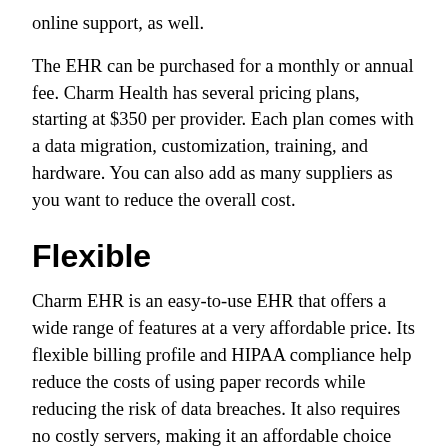online support, as well.
The EHR can be purchased for a monthly or annual fee. Charm Health has several pricing plans, starting at $350 per provider. Each plan comes with a data migration, customization, training, and hardware. You can also add as many suppliers as you want to reduce the overall cost.
Flexible
Charm EHR is an easy-to-use EHR that offers a wide range of features at a very affordable price. Its flexible billing profile and HIPAA compliance help reduce the costs of using paper records while reducing the risk of data breaches. It also requires no costly servers, making it an affordable choice for small practices.
Charm EHR is a cloud-based electronic health record (EHR) that gives you access to your own mobility